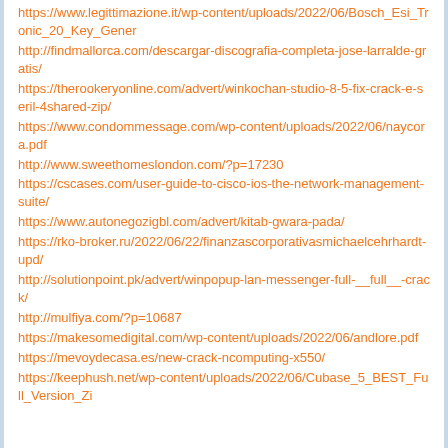https://www.legittimazione.it/wp-content/uploads/2022/06/Bosch_Esi_Tronic_20_Key_Gener
http://findmallorca.com/descargar-discografia-completa-jose-larralde-gratis/
https://therookeryonline.com/advert/winkochan-studio-8-5-fix-crack-e-seril-4shared-zip/
https://www.condommessage.com/wp-content/uploads/2022/06/naycora.pdf
http://www.sweethomeslondon.com/?p=17230
https://cscases.com/user-guide-to-cisco-ios-the-network-management-suite/
https://www.autonegozigbl.com/advert/kitab-gwara-pada/
https://rko-broker.ru/2022/06/22/finanzascorporativasmichaelcehrhardt-upd/
http://solutionpoint.pk/advert/winpopup-lan-messenger-full-__full__-crack/
http://mulfiya.com/?p=10687
https://makesomedigital.com/wp-content/uploads/2022/06/andlore.pdf
https://mevoydecasa.es/new-crack-ncomputing-x550/
https://keephush.net/wp-content/uploads/2022/06/Cubase_5_BEST_Full_Version_Zi